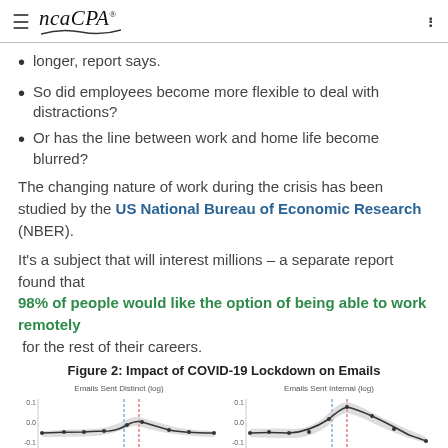ncaCPA
longer, report says.
So did employees become more flexible to deal with distractions?
Or has the line between work and home life become blurred?
The changing nature of work during the crisis has been studied by the US National Bureau of Economic Research (NBER).
It's a subject that will interest millions – a separate report found that 98% of people would like the option of being able to work remotely for the rest of their careers.
Figure 2: Impact of COVID-19 Lockdown on Emails
[Figure (continuous-plot): Two line charts side by side: left chart labeled 'Emails Sent Distinct (log)' with a curve peaking near a red dashed vertical line and a blue dashed vertical line, y-axis values 0.1, 0.0, -0.1; right chart labeled 'Emails Sent Internal (log)' with a similar pattern peaking higher, y-axis values 0.1, 0.0, -0.1. Both charts show confidence bands (shaded grey area) around the line.]